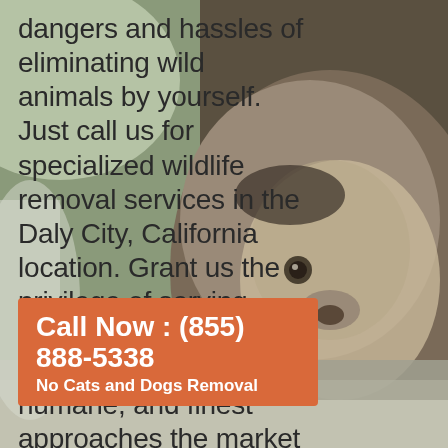[Figure (photo): Close-up photo of a raccoon face pressed against a window, with a blurred green outdoor background. The raccoon's fur, nose, and paw are visible against the glass.]
dangers and hassles of eliminating wild animals by yourself. Just call us for specialized wildlife removal services in the Daly City, California location. Grant us the privilege of serving your needs making use of the most safe, most humane, and finest approaches the market offers. Connect with us today to arrange your wildlife removal services in Daly City!
Call Now : (855) 888-5338
No Cats and Dogs Removal